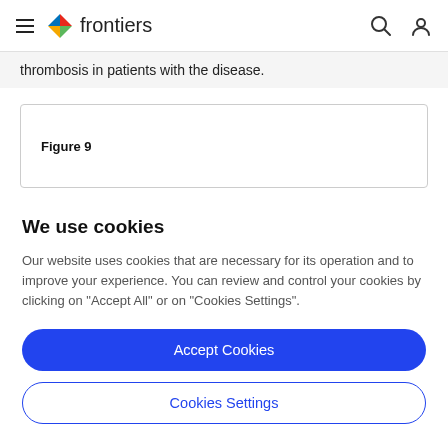frontiers
thrombosis in patients with the disease.
Figure 9
We use cookies
Our website uses cookies that are necessary for its operation and to improve your experience. You can review and control your cookies by clicking on "Accept All" or on "Cookies Settings".
Accept Cookies
Cookies Settings